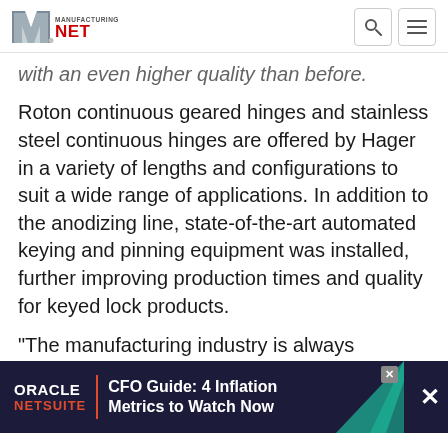Manufacturing.net
with an even higher quality than before.
Roton continuous geared hinges and stainless steel continuous hinges are offered by Hager in a variety of lengths and configurations to suit a wide range of applications. In addition to the anodizing line, state-of-the-art automated keying and pinning equipment was installed, further improving production times and quality for keyed lock products.
“The manufacturing industry is always evolving. As a business owner, you have a choice to be part of the change or be one of the companies eliminated by it,” a… anies, we’re committed to pushing our industry further to
[Figure (other): Oracle NetSuite advertisement banner: CFO Guide: 4 Inflation Metrics to Watch Now]